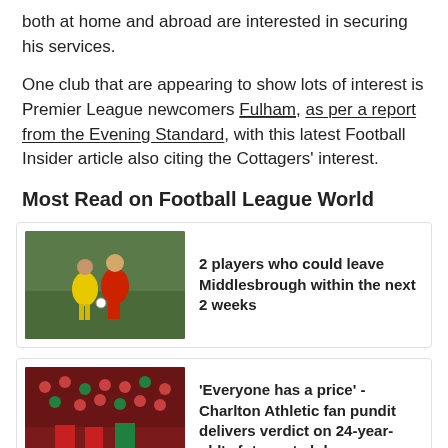both at home and abroad are interested in securing his services.
One club that are appearing to show lots of interest is Premier League newcomers Fulham, as per a report from the Evening Standard, with this latest Football Insider article also citing the Cottagers' interest.
Most Read on Football League World
[Figure (photo): Two football players competing for the ball on a pitch, one in red and one in yellow, with a green background.]
2 players who could leave Middlesbrough within the next 2 weeks
[Figure (photo): Football crowd scene with players in red, with a Canon Glass sponsor banner visible at the bottom.]
'Everyone has a price' - Charlton Athletic fan pundit delivers verdict on 24-year-old's future at club